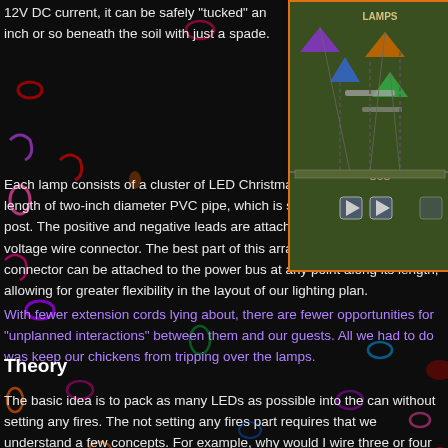12V DC current, it can be safely “tucked” an inch or so beneath the soil with just a spade.
[Figure (screenshot): Screenshot of a lighting layout diagram showing lamps and bus labels on a dark green background with colorful LED lamp icons]
Each lamp consists of a cluster of LED Christmas lights housed in a length of two-inch diameter PVC pipe, which is sealed and mounted to a post. The positive and negative leads are attached with wire nuts to a low voltage wire connector. The best part of this arrangement is that the connector can be attached to the power bus at any point along its length, allowing for greater flexibility in the layout of our lighting plan.
With fewer extension cords lying about, there are fewer opportunities for “unplanned interactions” between them and our guests. All we had to do was keep our chickens from tripping over the lamps.
Theory
The basic idea is to pack as many LEDs as possible into the can without setting any fires.  The not setting any fires part requires that we understand a few concepts.  For example, why would I wire three or four LEDs in series, and